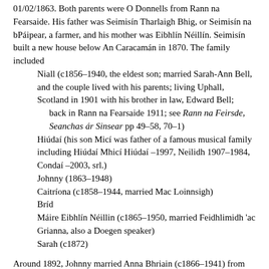01/02/1863. Both parents were O Donnells from Rann na Fearsaide. His father was Seimisín Tharlaigh Bhig, or Seimisín na bPáipear, a farmer, and his mother was Eibhlín Néillín. Seimisín built a new house below An Caracamán in 1870. The family included
Niall (c1856–1940, the eldest son; married Sarah-Ann Bell, and the couple lived with his parents; living Uphall, Scotland in 1901 with his brother in law, Edward Bell; back in Rann na Fearsaide 1911; see Rann na Feirsde, Seanchas ár Sinsear pp 49–58, 70–1)
Hiúdaí (his son Micí was father of a famous musical family including Hiúdaí Mhicí Hiúdaí –1997, Neilidh 1907–1984, Condaí –2003, srl.)
Johnny (1863–1948)
Caitríona (c1858–1944, married Mac Loinnsigh)
Bríd
Máire Eibhlín Néillin (c1865–1950, married Feidhlimidh 'ac Grianna, also a Doegen speaker)
Sarah (c1872)
Around 1892, Johnny married Anna Bhriain (c1866–1941) from Cró Bheithe. They lived at first on Anna's father's